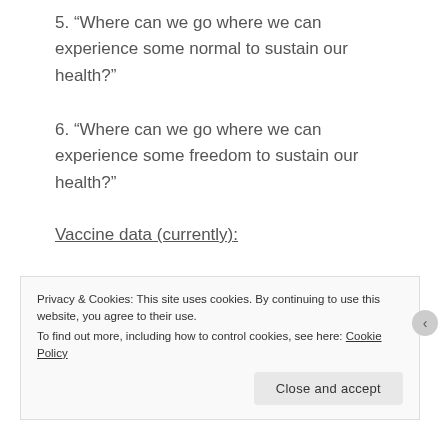5. “Where can we go where we can experience some normal to sustain our health?”
6. “Where can we go where we can experience some freedom to sustain our health?”
Vaccine data (currently):
• Oxford-AstraZeneca vaccine is used in 181 countries, Pfizer-BioNTech is used in 111 countries, Moderna is used in 64 countries,
Privacy & Cookies: This site uses cookies. By continuing to use this website, you agree to their use. To find out more, including how to control cookies, see here: Cookie Policy